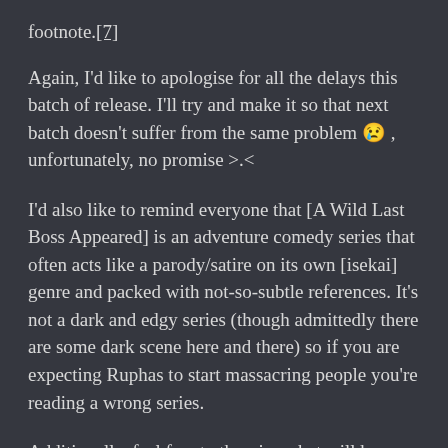footnote.[7]
Again, I'd like to apologise for all the delays this batch of release. I'll try and make it so that next batch doesn't suffer from the same problem 😢 , unfortunately, no promise >.<
I'd also like to remind everyone that [A Wild Last Boss Appeared] is an adventure comedy series that often acts like a parody/satire on its own [isekai] genre and packed with not-so-subtle references. It's not a dark and edgy series (though admittedly there are some dark scene here and there) so if you are expecting Ruphas to start massacring people you're reading a wrong series.
Additionally, feel free to theorise what will happen in the later chapters (either in the comment section below or on discord) since the author has them